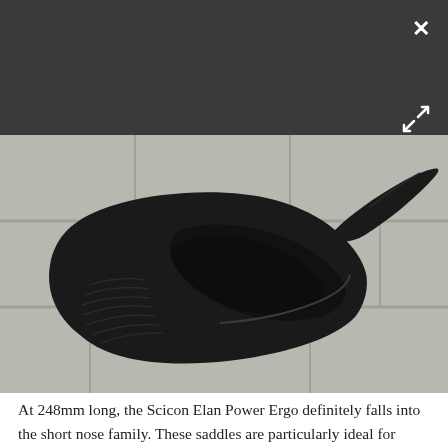[Figure (photo): A black bicycle saddle (Scicon Elan Power Ergo) photographed from above on a stone/granite tile surface. The saddle is black with a short nose design and cutout channel.]
At 248mm long, the Scicon Elan Power Ergo definitely falls into the short nose family. These saddles are particularly ideal for riders who tend to roll their hips forward and adopt